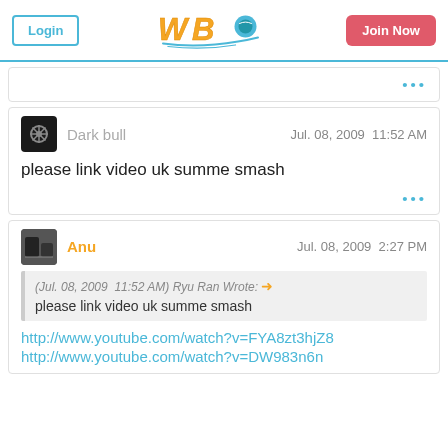WBO forum header with Login button, WBO logo, and Join Now button
...
Dark bull   Jul. 08, 2009  11:52 AM
please link video uk summe smash
...
Anu   Jul. 08, 2009  2:27 PM
(Jul. 08, 2009  11:52 AM) Ryu Ran Wrote: →
please link video uk summe smash
http://www.youtube.com/watch?v=FYA8zt3hjZ8
http://www.youtube.com/watch?v=DW983n6n